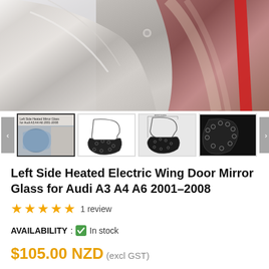[Figure (photo): Close-up photo of a car side mirror area showing chrome and metallic body panel with red accent stripe]
[Figure (photo): Thumbnail row: 4 product images showing the heated mirror glass from different angles including outline diagram, back view with heating elements, and installed view]
Left Side Heated Electric Wing Door Mirror Glass for Audi A3 A4 A6 2001-2008
★★★★★ 1 review
AVAILABILITY : ✓ In stock
$105.00 NZD (excl GST)